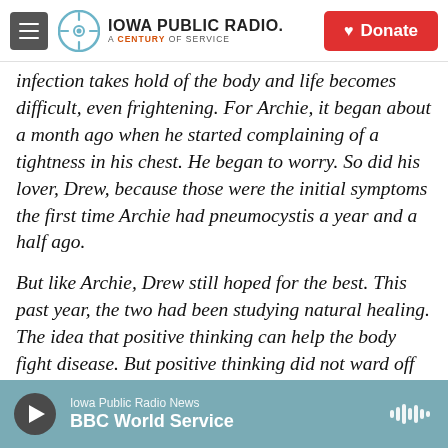Iowa Public Radio — A Century of Service | Donate
infection takes hold of the body and life becomes difficult, even frightening. For Archie, it began about a month ago when he started complaining of a tightness in his chest. He began to worry. So did his lover, Drew, because those were the initial symptoms the first time Archie had pneumocystis a year and a half ago.
But like Archie, Drew still hoped for the best. This past year, the two had been studying natural healing. The idea that positive thinking can help the body fight disease. But positive thinking did not ward off the pneumonia.
Iowa Public Radio News — BBC World Service